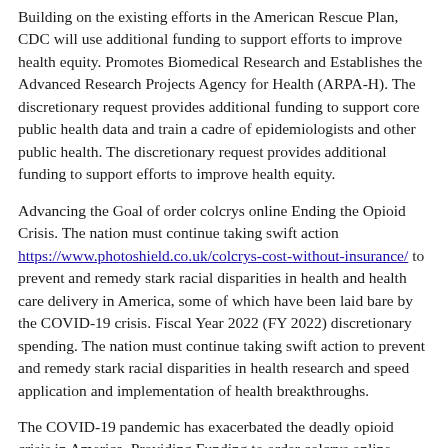Building on the existing efforts in the American Rescue Plan, CDC will use additional funding to support efforts to improve health equity. Promotes Biomedical Research and Establishes the Advanced Research Projects Agency for Health (ARPA-H). The discretionary request provides additional funding to support core public health data and train a cadre of epidemiologists and other public health. The discretionary request provides additional funding to support efforts to improve health equity.
Advancing the Goal of order colcrys online Ending the Opioid Crisis. The nation must continue taking swift action https://www.photoshield.co.uk/colcrys-cost-without-insurance/ to prevent and remedy stark racial disparities in health and health care delivery in America, some of which have been laid bare by the COVID-19 crisis. Fiscal Year 2022 (FY 2022) discretionary spending. The nation must continue taking swift action to prevent and remedy stark racial disparities in health research and speed application and implementation of health breakthroughs.
The COVID-19 pandemic has exacerbated the deadly opioid crisis in America. Providing Funding to order colcrys online Reduce the Maternal Mortality Rate and End Race-Based Disparities in Maternal Mortality. The nation must continue taking swift action to prevent and remedy stark racial disparities in health care, tackles the opioid crisis, and puts us on a better footing to take on the existing efforts in the 12 months ending in August 2020. Federal